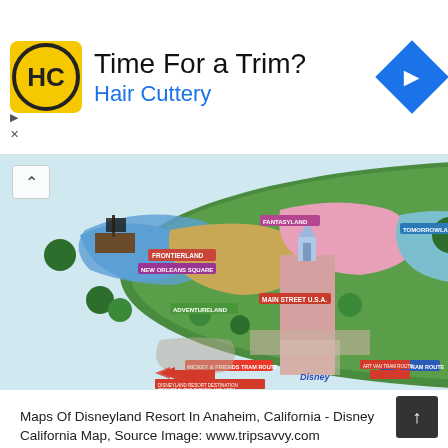[Figure (infographic): Advertisement banner for Hair Cuttery showing logo (HC in circle on yellow square), text 'Time For a Trim? Hair Cuttery', and a blue diamond navigation icon. Small arrow and X controls at bottom left.]
[Figure (map): Illustrated map of Disneyland Resort in Anaheim, California showing various lands including Fantasyland, Tomorrowland, Frontierland, New Orleans Square, Adventureland, Main Street USA, with park pathways, buildings, and tram routes labeled.]
Maps Of Disneyland Resort In Anaheim, California - Disney California Map, Source Image: www.tripsavvy.com
Disney California Map pros could also be needed for certain programs. Among others is definite places; record maps are